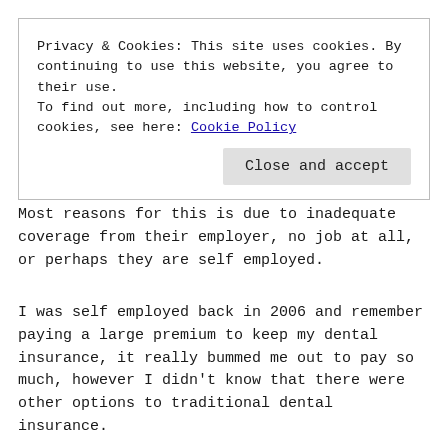Privacy & Cookies: This site uses cookies. By continuing to use this website, you agree to their use.
To find out more, including how to control cookies, see here: Cookie Policy
Close and accept
Most reasons for this is due to inadequate coverage from their employer, no job at all, or perhaps they are self employed.
I was self employed back in 2006 and remember paying a large premium to keep my dental insurance, it really bummed me out to pay so much, however I didn't know that there were other options to traditional dental insurance.
Dental care is so important, your teeth are something that you should have your entire life! And you will keep them, so long as you take care of them.